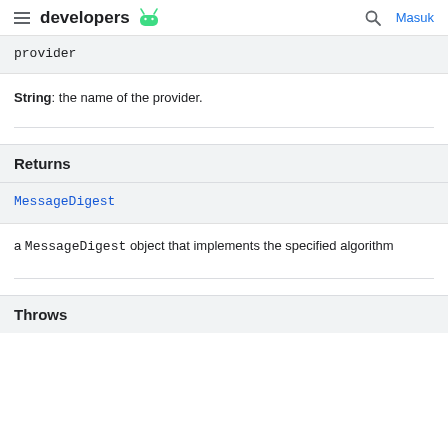developers [Android logo] Masuk
provider
String: the name of the provider.
Returns
MessageDigest
a MessageDigest object that implements the specified algorithm
Throws